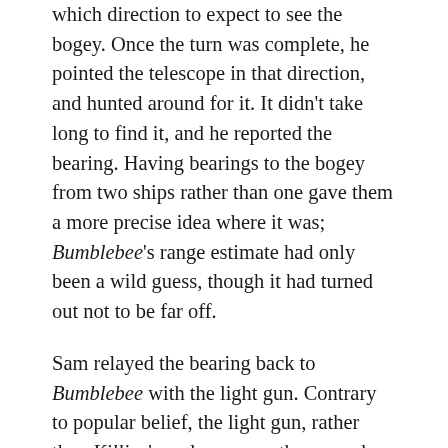which direction to expect to see the bogey. Once the turn was complete, he pointed the telescope in that direction, and hunted around for it. It didn't take long to find it, and he reported the bearing. Having bearings to the bogey from two ships rather than one gave them a more precise idea where it was; Bumblebee's range estimate had only been a wild guess, though it had turned out not to be far off.
Sam relayed the bearing back to Bumblebee with the light gun. Contrary to popular belief, the light gun, rather than Killjoy's real gun, was the second-most energy-intensive machine on the ship, behind only the engine. Space ships are fragile, so it doesn't take much punch to kill them, and they have no reason for their guns to pack more punch than that. Being able to yell for help is just as essential for survival in space warfare as being able to shoot. Since as far as anyone can tell, sound doesn't transmit through